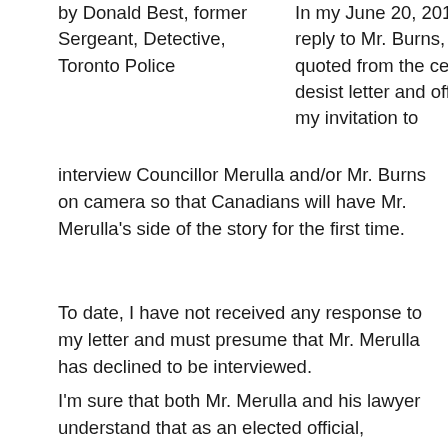by Donald Best, former Sergeant, Detective, Toronto Police
In my June 20, 2019 reply to Mr. Burns, I quoted from the cease & desist letter and offered my invitation to interview Councillor Merulla and/or Mr. Burns on camera so that Canadians will have Mr. Merulla's side of the story for the first time.
To date, I have not received any response to my letter and must presume that Mr. Merulla has declined to be interviewed.
I'm sure that both Mr. Merulla and his lawyer understand that as an elected official, Councillor Merula's listing in a leaked police document as an associate of members of organized crime is one of those stories that matter to ordinary Canadians.